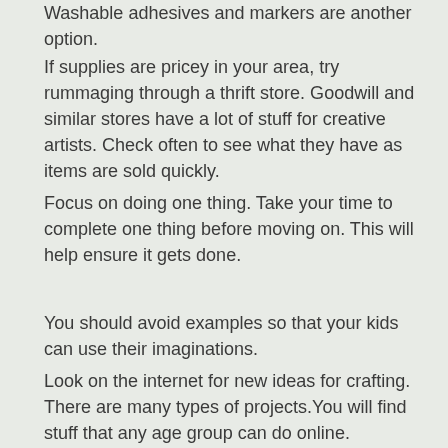Washable adhesives and markers are another option.
If supplies are pricey in your area, try rummaging through a thrift store. Goodwill and similar stores have a lot of stuff for creative artists. Check often to see what they have as items are sold quickly.
Focus on doing one thing. Take your time to complete one thing before moving on. This will help ensure it gets done.
You should avoid examples so that your kids can use their imaginations.
Look on the internet for new ideas for crafting. There are many types of projects.You will find stuff that any age group can do online.